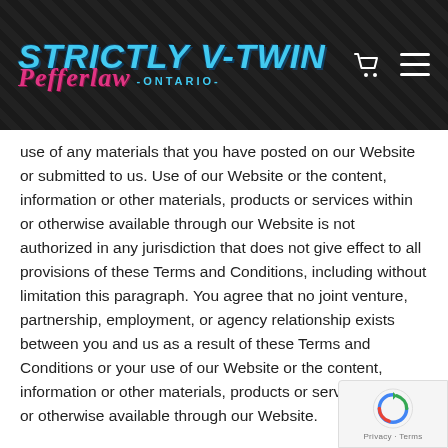[Figure (logo): Strictly V-Twin Pefferlaw Ontario logo with shopping cart and hamburger menu icons on dark background]
use of any materials that you have posted on our Website or submitted to us. Use of our Website or the content, information or other materials, products or services within or otherwise available through our Website is not authorized in any jurisdiction that does not give effect to all provisions of these Terms and Conditions, including without limitation this paragraph. You agree that no joint venture, partnership, employment, or agency relationship exists between you and us as a result of these Terms and Conditions or your use of our Website or the content, information or other materials, products or services within or otherwise available through our Website.
You agree that all notices, disclosures and other communications that we provide to you electronically satisfy any legal requirement that such communications be in writing.
You shall use our Website and the content, information or other materials, products and services within or otherwise available